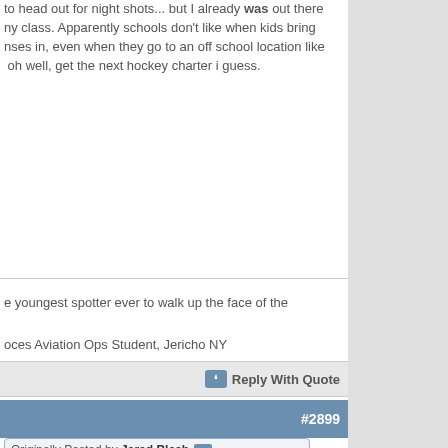to head out for night shots... but I already was out there my class. Apparently schools don't like when kids bring nses in, even when they go to an off school location like oh well, get the next hockey charter i guess.
e youngest spotter ever to walk up the face of the

oces Aviation Ops Student, Jericho NY
Reply With Quote
#2899
Originally Posted by Jared Blech
ell, get the next hockey charter i guess.